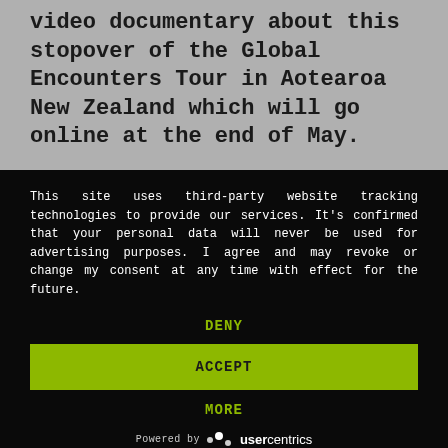video documentary about this stopover of the Global Encounters Tour in Aotearoa New Zealand which will go online at the end of May.
This site uses third-party website tracking technologies to provide our services. It's confirmed that your personal data will never be used for advertising purposes. I agree and may revoke or change my consent at any time with effect for the future.
DENY
ACCEPT
MORE
Powered by usercentrics
Imprint | Privacy Policy